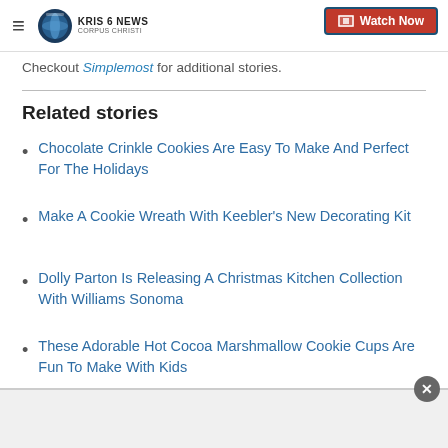KRIS 6 NEWS CORPUS CHRISTI — Watch Now
Checkout Simplemost for additional stories.
Related stories
Chocolate Crinkle Cookies Are Easy To Make And Perfect For The Holidays
Make A Cookie Wreath With Keebler's New Decorating Kit
Dolly Parton Is Releasing A Christmas Kitchen Collection With Williams Sonoma
These Adorable Hot Cocoa Marshmallow Cookie Cups Are Fun To Make With Kids